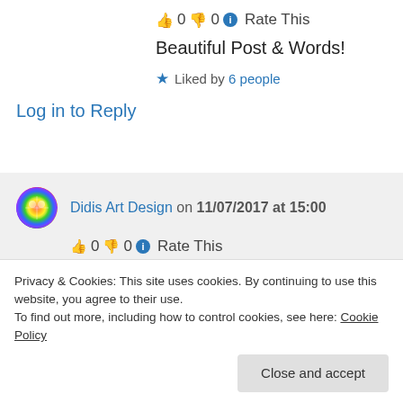👍 0 👎 0 ℹ Rate This
Beautiful Post & Words!
★ Liked by 6 people
Log in to Reply
Didis Art Design on 11/07/2017 at 15:00
👍 0 👎 0 ℹ Rate This
Thank you so much, dear friend 🙂
Privacy & Cookies: This site uses cookies. By continuing to use this website, you agree to their use. To find out more, including how to control cookies, see here: Cookie Policy
Close and accept